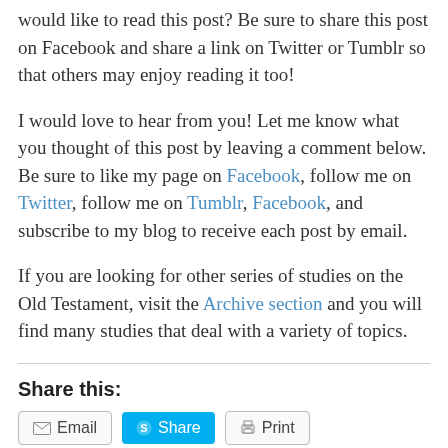would like to read this post? Be sure to share this post on Facebook and share a link on Twitter or Tumblr so that others may enjoy reading it too!
I would love to hear from you! Let me know what you thought of this post by leaving a comment below. Be sure to like my page on Facebook, follow me on Twitter, follow me on Tumblr, Facebook, and subscribe to my blog to receive each post by email.
If you are looking for other series of studies on the Old Testament, visit the Archive section and you will find many studies that deal with a variety of topics.
Share this:
Email  Share  Print